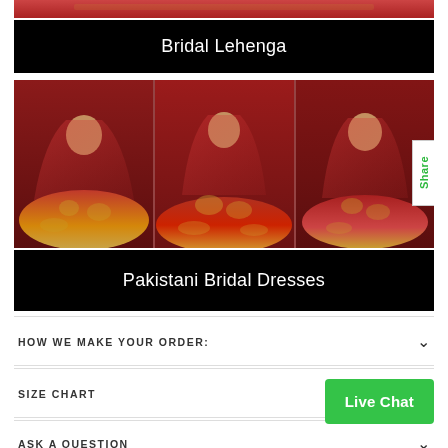[Figure (photo): Cropped top portion of a bridal dress image in red]
Bridal Lehenga
[Figure (photo): Three brides wearing red and gold Pakistani bridal lehenga dresses]
Pakistani Bridal Dresses
HOW WE MAKE YOUR ORDER:
SIZE CHART
ASK A QUESTION